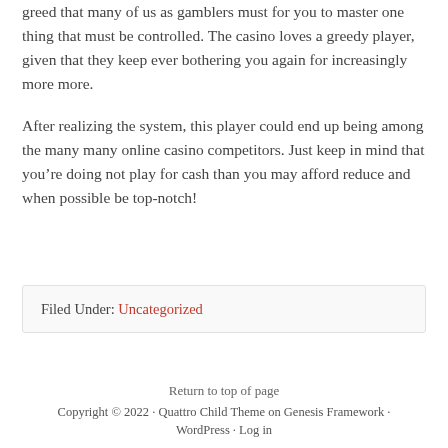greed that many of us as gamblers must for you to master one thing that must be controlled. The casino loves a greedy player, given that they keep ever bothering you again for increasingly more more.
After realizing the system, this player could end up being among the many many online casino competitors. Just keep in mind that you’re doing not play for cash than you may afford reduce and when possible be top-notch!
Filed Under: Uncategorized
Return to top of page
Copyright © 2022 · Quattro Child Theme on Genesis Framework · WordPress · Log in